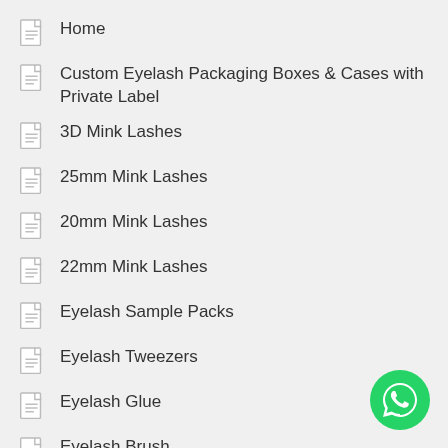Home
Custom Eyelash Packaging Boxes & Cases with Private Label
3D Mink Lashes
25mm Mink Lashes
20mm Mink Lashes
22mm Mink Lashes
Eyelash Sample Packs
Eyelash Tweezers
Eyelash Glue
Eyelash Brush
Contact
[Figure (illustration): WhatsApp contact button - green circle with white phone handset icon]